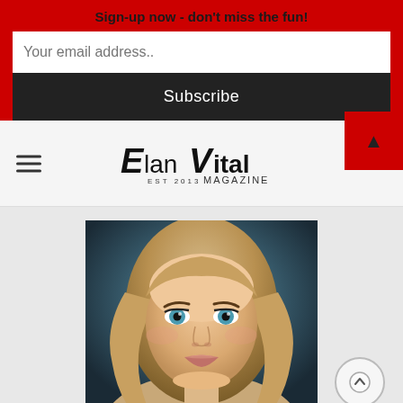Sign-up now - don't miss the fun!
Your email address..
Subscribe
[Figure (logo): Elan Vital Magazine logo with stylized text]
[Figure (photo): Portrait photo of a young woman with long blonde wavy hair and blue eyes]